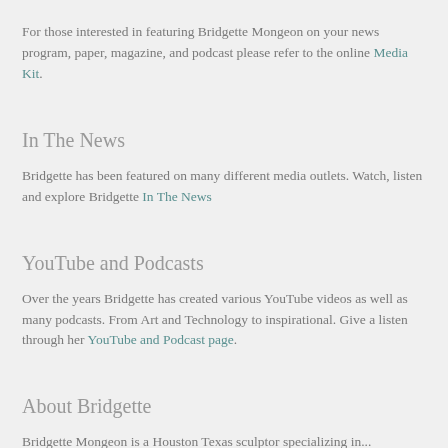For those interested in featuring Bridgette Mongeon on your news program, paper, magazine, and podcast please refer to the online Media Kit.
In The News
Bridgette has been featured on many different media outlets. Watch, listen and explore Bridgette In The News
YouTube and Podcasts
Over the years Bridgette has created various YouTube videos as well as many podcasts. From Art and Technology to inspirational. Give a listen through her YouTube and Podcast page.
About Bridgette
Bridgette Mongeon is a Houston Texas sculptor specializing in...